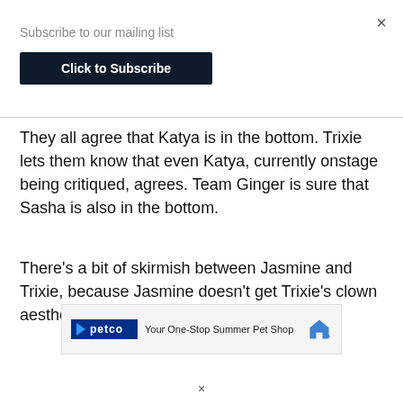×
Subscribe to our mailing list
Click to Subscribe
They all agree that Katya is in the bottom. Trixie lets them know that even Katya, currently onstage being critiqued, agrees. Team Ginger is sure that Sasha is also in the bottom.
There's a bit of skirmish between Jasmine and Trixie, because Jasmine doesn't get Trixie's clown aesthetic.
[Figure (other): Petco advertisement banner: 'Your One-Stop Summer Pet Shop' with Petco logo and house/arrow icon]
×